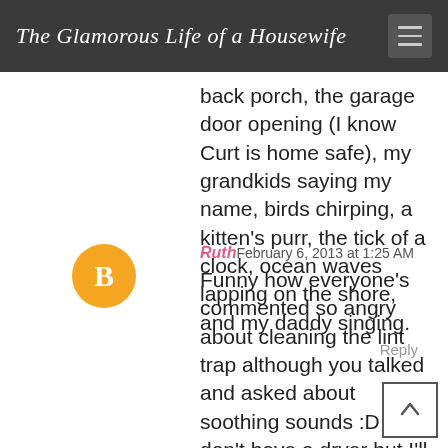The Glamorous Life of a Housewife
back porch, the garage door opening (I know Curt is home safe), my grandkids saying my name, birds chirping, a kitten's purr, the tick of a clock, ocean waves lapping on the shore, and my daddy singing.
Reply
RuthFebruary 6, 2013 at 1:25 AM
Funny how everyone's commented so angry about cleaning the lint trap although you talked and asked about soothing sounds :D We don't have a dryer but I'll definitely know I have to clean it now when I get one :D